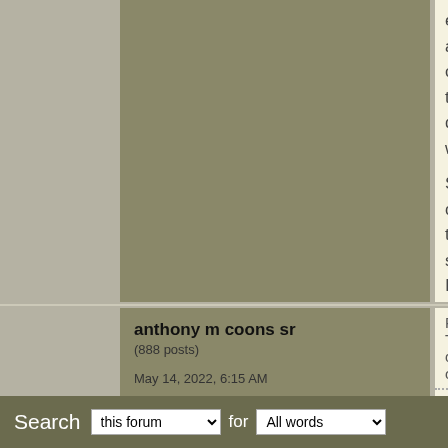expanding and cracking the deck w...
Somewhere on this site I posted a t...
Found it: http://www.duckboats.ne...
anthony m coons sr
(888 posts)
May 14, 2022, 6:15 AM
Post #3 of 3
Views: 419
Shortcut
Re: 17 TDB classic opinions | In rep...
Jay,
Many moons ago I took a trip to the... coop. My Friend was picking up a N... the bay and the water was a little ro... had a blast. I'm 6'3 300lb plus and l... the gear out. It is safe and it will get... anthony sr
Search  this forum  for  All words